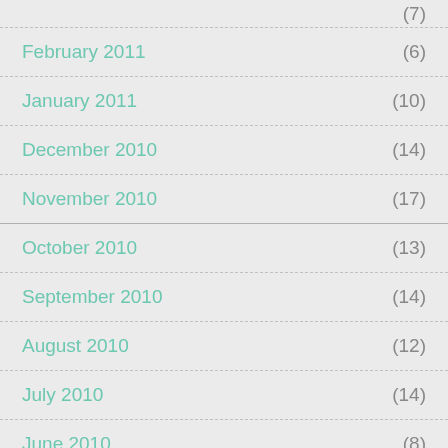(7)
February 2011 (6)
January 2011 (10)
December 2010 (14)
November 2010 (17)
October 2010 (13)
September 2010 (14)
August 2010 (12)
July 2010 (14)
June 2010 (8)